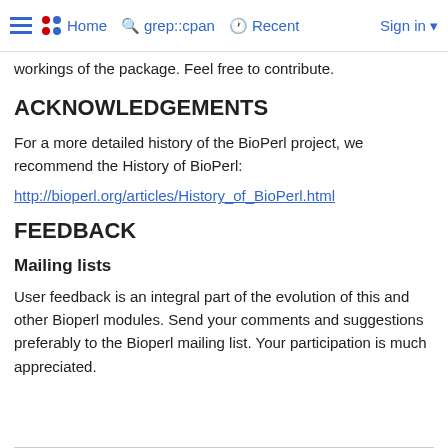☰ •• Home 🔍 grep::cpan 🕐 Recent Sign in ▾
workings of the package. Feel free to contribute.
ACKNOWLEDGEMENTS
For a more detailed history of the BioPerl project, we recommend the History of BioPerl:
http://bioperl.org/articles/History_of_BioPerl.html
FEEDBACK
Mailing lists
User feedback is an integral part of the evolution of this and other Bioperl modules. Send your comments and suggestions preferably to the Bioperl mailing list. Your participation is much appreciated.